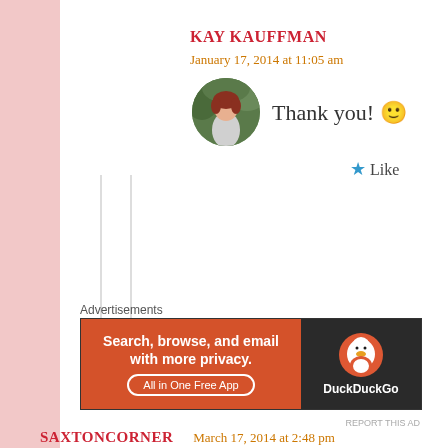KAY KAUFFMAN
January 17, 2014 at 11:05 am
[Figure (photo): Circular avatar photo of a person with reddish hair standing outdoors among green foliage]
Thank you! 🙂
★ Like
Advertisements
[Figure (screenshot): DuckDuckGo advertisement banner: orange left panel with text 'Search, browse, and email with more privacy. All in One Free App' and dark right panel with DuckDuckGo logo and name]
REPORT THIS AD
SAXTONCORNER
March 17, 2014 at 2:48 pm